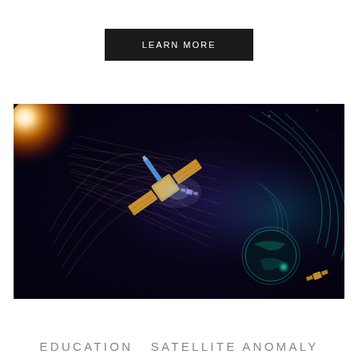LEARN MORE
[Figure (illustration): Space illustration showing a communications satellite in orbit with solar panels, surrounded by electromagnetic field lines and solar wind particles. A bright star/sun glows on the left with orange-red light, and a planet with a magnetic field is visible on the right. The background is deep space.]
EDUCATION  SATELLITE ANOMALY